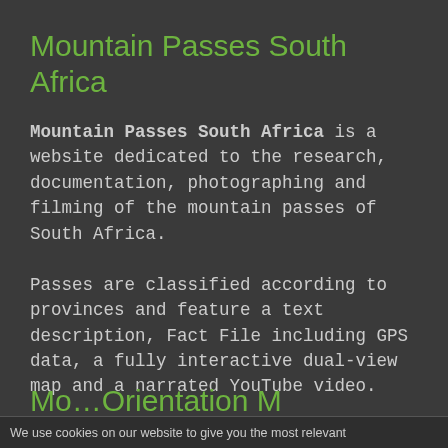Mountain Passes South Africa
Mountain Passes South Africa is a website dedicated to the research, documentation, photographing and filming of the mountain passes of South Africa.
Passes are classified according to provinces and feature a text description, Fact File including GPS data, a fully interactive dual-view map and a narrated YouTube video.
Mo...orientation M...
We use cookies on our website to give you the most relevant